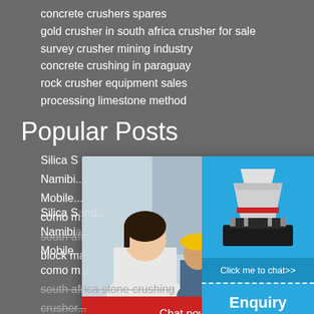concrete crushers spares
gold crusher in south africa crusher for sale
survey crusher mining industry
concrete crushing in paraguay
rock crusher equipment sales
processing limestone method
Popular Posts
Silica S...
Namibi...
Mobile...
como m...
south africa stone crushing crusher...
block machines alqemma 913 zenit...
[Figure (screenshot): Live chat popup overlay with photo of smiling woman and engineers in hard hats, LIVE CHAT title in red italic, 'Click for a Free Consultation' subtitle, Chat now and Chat later buttons]
[Figure (screenshot): Right sidebar widget on blue background showing a cone crusher machine image, 'Click me to chat>>' button, 'Enquiry' heading, and 'limingjlmofen' text]